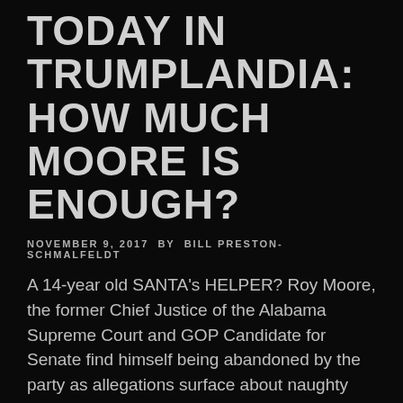TODAY IN TRUMPLANDIA: HOW MUCH MOORE IS ENOUGH?
NOVEMBER 9, 2017 BY BILL PRESTON-SCHMALFELDT
A 14-year old SANTA's HELPER? Roy Moore, the former Chief Justice of the Alabama Supreme Court and GOP Candidate for Senate find himself being abandoned by the party as allegations surface about naughty no-no shenanigans…
CONTINUE READING TODAY IN TRUMPLANDIA: HOW MUCH MOORE IS ENOUGH?